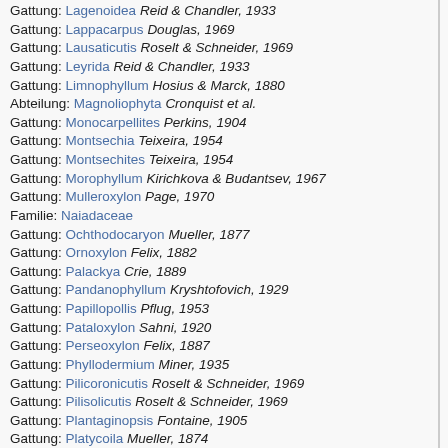Gattung: Lagenoidea Reid & Chandler, 1933
Gattung: Lappacarpus Douglas, 1969
Gattung: Lausaticutis Roselt & Schneider, 1969
Gattung: Leyrida Reid & Chandler, 1933
Gattung: Limnophyllum Hosius & Marck, 1880
Abteilung: Magnoliophyta Cronquist et al.
Gattung: Monocarpellites Perkins, 1904
Gattung: Montsechia Teixeira, 1954
Gattung: Montsechites Teixeira, 1954
Gattung: Morophyllum Kirichkova & Budantsev, 1967
Gattung: Mulleroxylon Page, 1970
Familie: Naiadaceae
Gattung: Ochthodocaryon Mueller, 1877
Gattung: Ornoxylon Felix, 1882
Gattung: Palackya Crie, 1889
Gattung: Pandanophyllum Kryshtofovich, 1929
Gattung: Papillopollis Pflug, 1953
Gattung: Pataloxylon Sahni, 1920
Gattung: Perseoxylon Felix, 1887
Gattung: Phyllodermium Miner, 1935
Gattung: Pilicoronicutis Roselt & Schneider, 1969
Gattung: Pilisolicutis Roselt & Schneider, 1969
Gattung: Plantaginopsis Fontaine, 1905
Gattung: Platycoila Mueller, 1874
Gattung: Pleiacron Mueller, 1877
Gattung: Populites
Gattung: Pothocites Paterson, 1844